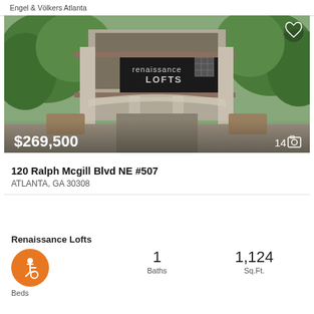Engel & Völkers Atlanta
[Figure (photo): Exterior photo of Renaissance Lofts building showing covered walkway entrance with trees, price overlay $269,500, and photo count 14]
120 Ralph Mcgill Blvd NE #507
ATLANTA, GA 30308
Renaissance Lofts
1 Beds
1 Baths
1,124 Sq.Ft.